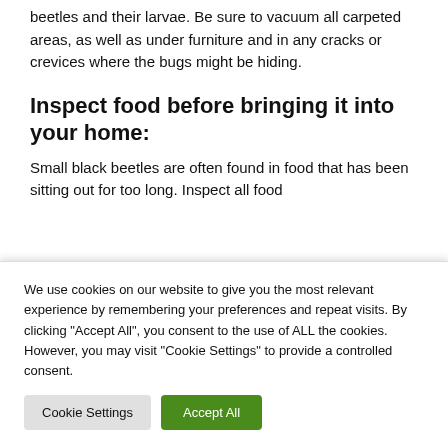beetles and their larvae. Be sure to vacuum all carpeted areas, as well as under furniture and in any cracks or crevices where the bugs might be hiding.
Inspect food before bringing it into your home:
Small black beetles are often found in food that has been sitting out for too long. Inspect all food
We use cookies on our website to give you the most relevant experience by remembering your preferences and repeat visits. By clicking “Accept All”, you consent to the use of ALL the cookies. However, you may visit "Cookie Settings" to provide a controlled consent.